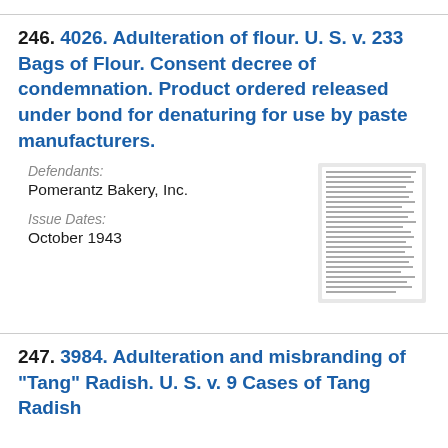246. 4026. Adulteration of flour. U. S. v. 233 Bags of Flour. Consent decree of condemnation. Product ordered released under bond for denaturing for use by paste manufacturers.
Defendants:
Pomerantz Bakery, Inc.
Issue Dates:
October 1943
[Figure (photo): Thumbnail image of a document page with dense text, shown as a small scanned page thumbnail.]
247. 3984. Adulteration and misbranding of "Tang" Radish. U. S. v. 9 Cases of Tang Radish